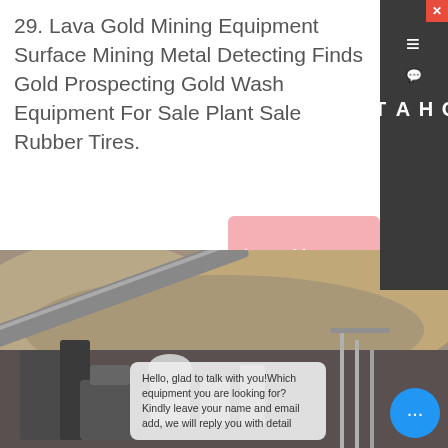29. Lava Gold Mining Equipment Surface Mining Metal Detecting Finds Gold Prospecting Gold Wash Equipment For Sale Plant Sale Rubber Tires.
[Figure (other): Chat widget on right side with close button, chat icon, and vertical CHAT label on dark background]
[Figure (other): Pink 'Learn More' button partially visible on right side]
Trommel For Sale In Zimbabwe Mining Equipment Price
[Figure (photo): Mining equipment facility with conveyor belts, crushers, and industrial machinery at a mining site with rock piles in background. Chat bubble overlay reads: Hello, glad to talk with you!Which equipment you are looking for?Kindly leave your name and email add, we will reply you with detail]